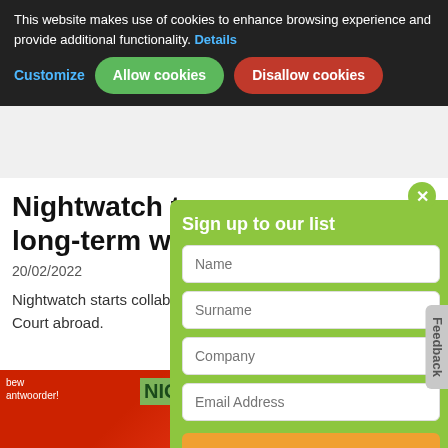This website makes use of cookies to enhance browsing experience and provide additional functionality. Details
Customize | Allow cookies | Disallow cookies
Nightwatch teams up long-term with Sportw...
20/02/2022
Nightwatch starts collaboration with King of the Court abroad.
[Figure (photo): Photo of event with red and green banners, showing partial NIGH text]
Sign up to our list
Name
Surname
Company
Email Address
Subscribe